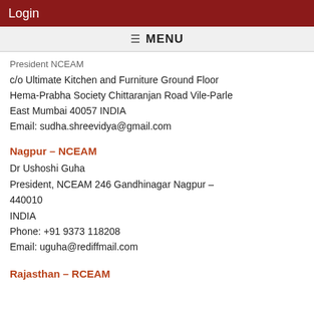Login
≡ MENU
President NCEAM
c/o Ultimate Kitchen and Furniture Ground Floor Hema-Prabha Society Chittaranjan Road Vile-Parle East Mumbai 40057 INDIA
Email: sudha.shreevidya@gmail.com
Nagpur – NCEAM
Dr Ushoshi Guha
President, NCEAM 246 Gandhinagar Nagpur – 440010
INDIA
Phone: +91 9373 118208
Email: uguha@rediffmail.com
Rajasthan – RCEAM